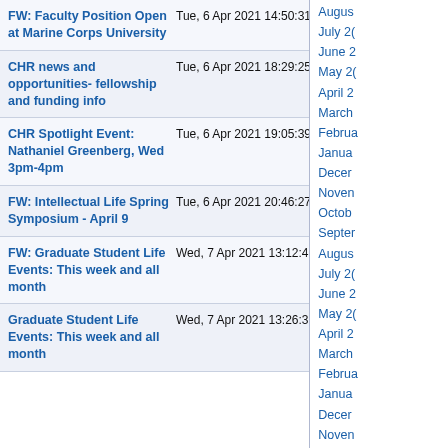| Subject | Date | Lines |
| --- | --- | --- |
| FW: Faculty Position Open at Marine Corps University | Tue, 6 Apr 2021 14:50:31 +0000 | 154 lines |
| CHR news and opportunities- fellowship and funding info | Tue, 6 Apr 2021 18:29:25 +0000 | 5009 lines |
| CHR Spotlight Event: Nathaniel Greenberg, Wed 3pm-4pm | Tue, 6 Apr 2021 19:05:39 +0000 | 155 lines |
| FW: Intellectual Life Spring Symposium - April 9 | Tue, 6 Apr 2021 20:46:27 +0000 | 292 lines |
| FW: Graduate Student Life Events: This week and all month | Wed, 7 Apr 2021 13:12:43 +0000 | 733 lines |
| Graduate Student Life Events: This week and all month | Wed, 7 Apr 2021 13:26:37 +0000 | 805 lines |
August
July 2(
June 2
May 2(
April 2
March
Februa
Janua
Decer
Noven
Octob
Septer
Augus
July 2(
June 2
May 2(
April 2
March
Februa
Janua
Decer
Noven
Octob
Septer
Augus
July 2(
June 2
May 2(
April 2
March
Februa
Janua